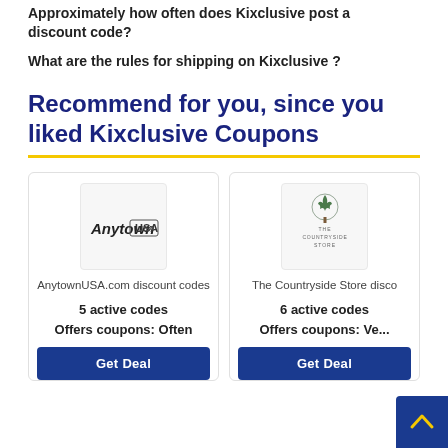Approximately how often does Kixclusive post a discount code?
What are the rules for shipping on Kixclusive ?
Recommend for you, since you liked Kixclusive Coupons
[Figure (logo): AnytownUSA.com logo - stylized text]
AnytownUSA.com discount codes
5 active codes
Offers coupons: Often
[Figure (logo): The Countryside Store logo - tree icon with store name]
The Countryside Store disco
6 active codes
Offers coupons: Ve...